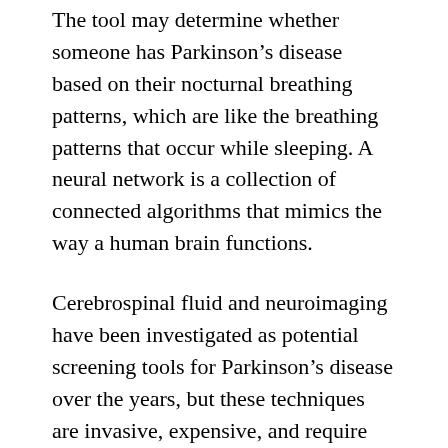The tool may determine whether someone has Parkinson's disease based on their nocturnal breathing patterns, which are like the breathing patterns that occur while sleeping. A neural network is a collection of connected algorithms that mimics the way a human brain functions.
Cerebrospinal fluid and neuroimaging have been investigated as potential screening tools for Parkinson's disease over the years, but these techniques are invasive, expensive, and require access to specialized medical facilities, preventing them from routine testing that would otherwise enable early diagnosis or ongoing disease progression monitoring.
The MIT researchers showed that a Parkinson's assessment using AI may be carried out each night